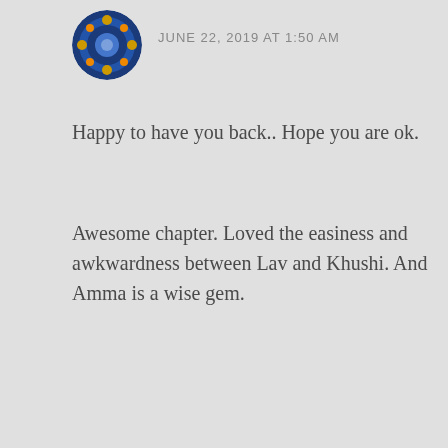[Figure (photo): Circular avatar image with decorative blue patterned design]
JUNE 22, 2019 AT 1:50 AM
Happy to have you back.. Hope you are ok.
Awesome chapter. Loved the easiness and awkwardness between Lav and Khushi. And Amma is a wise gem.
★ Liked by 2 people
Reply
Privacy & Cookies: This site uses cookies. By continuing to use this website, you agree to their use.
To find out more, including how to control cookies, see here: Cookie Policy
Close and accept
Glad to see you back. I hope you are doing